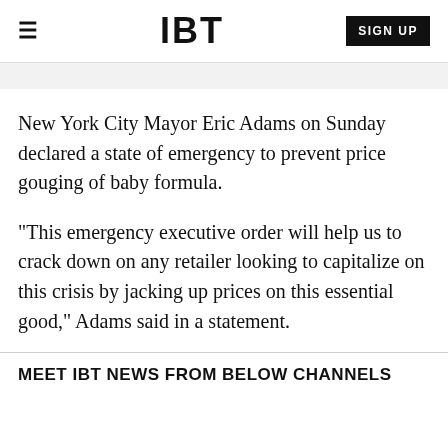IBT
New York City Mayor Eric Adams on Sunday declared a state of emergency to prevent price gouging of baby formula.
"This emergency executive order will help us to crack down on any retailer looking to capitalize on this crisis by jacking up prices on this essential good," Adams said in a statement.
MEET IBT NEWS FROM BELOW CHANNELS